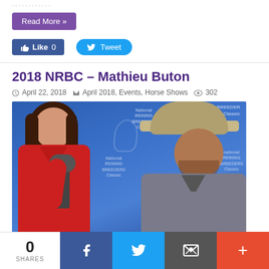Read More »
Like 0   Tweet
2018 NRBC – Mathieu Buton
April 22, 2018   April 2018, Events, Horse Shows   302
[Figure (photo): A woman in a red jacket holding a microphone stands next to a man wearing a cowboy hat and grey shirt, in front of a National Reining Breeders Classic branded backdrop.]
0 SHARES